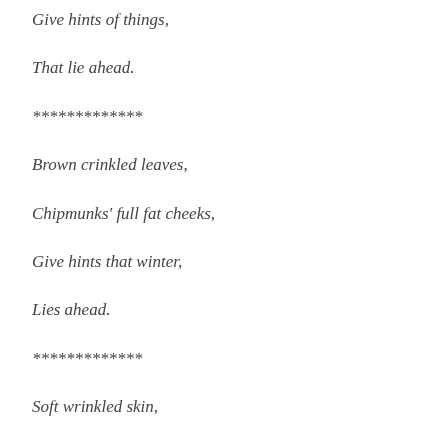Give hints of things,
That lie ahead.
*************
Brown crinkled leaves,
Chipmunks' full fat cheeks,
Give hints that winter,
Lies ahead.
*************
Soft wrinkled skin,
With heartbeats missed,